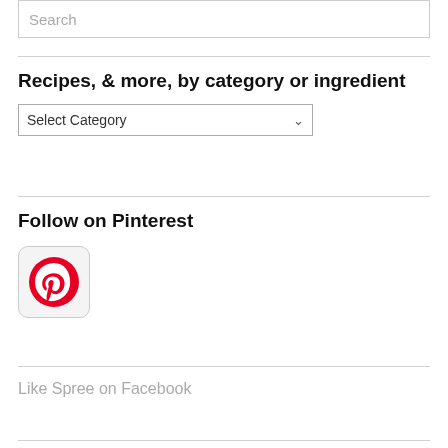Search
Recipes, & more, by category or ingredient
Select Category
Follow on Pinterest
[Figure (logo): Pinterest logo button - red circular icon with white P on grey rounded square background]
Like Spree on Facebook